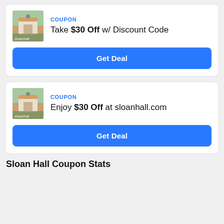COUPON
Take $30 Off w/ Discount Code
Get Deal
COUPON
Enjoy $30 Off at sloanhall.com
Get Deal
Sloan Hall Coupon Stats